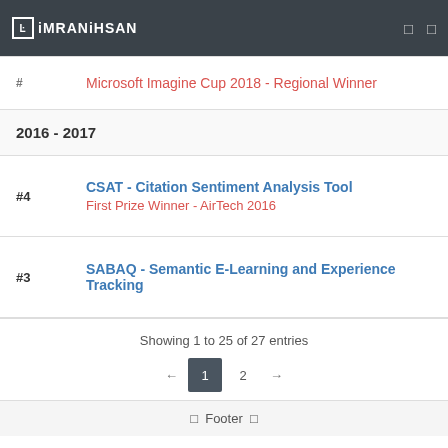iMRANiHSAN
Microsoft Imagine Cup 2018 - Regional Winner
2016 - 2017
#4 CSAT - Citation Sentiment Analysis Tool
First Prize Winner - AirTech 2016
#3 SABAQ - Semantic E-Learning and Experience Tracking
Showing 1 to 25 of 27 entries
← 1 2 →
Footer